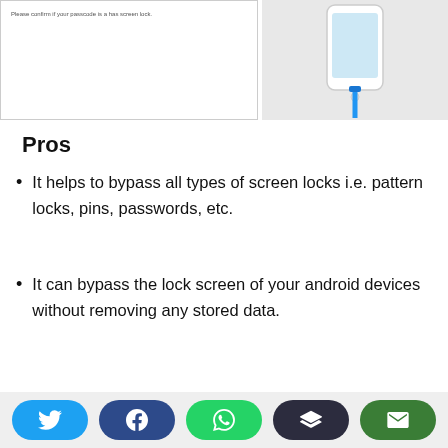[Figure (illustration): Top portion of a UI screenshot on the left side and a phone connected via USB cable illustration on the right side (partially visible)]
Pros
It helps to bypass all types of screen locks i.e. pattern locks, pins, passwords, etc.
It can bypass the lock screen of your android devices without removing any stored data.
The easy and simple user interface
[Figure (infographic): Social sharing bar with Twitter, Facebook, WhatsApp, Buffer, and Email buttons]